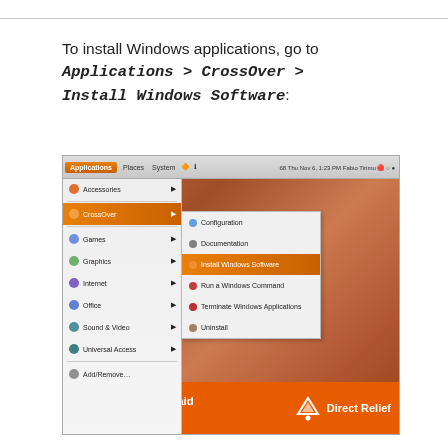To install Windows applications, go to Applications > CrossOver > Install Windows Software:
[Figure (screenshot): Screenshot of a Linux desktop showing the Applications menu open with CrossOver submenu expanded, highlighting 'Install Windows Software'. Below the screenshot is an orange banner advertisement for Direct Relief: 'Help send medical aid to Ukraine >>'.]